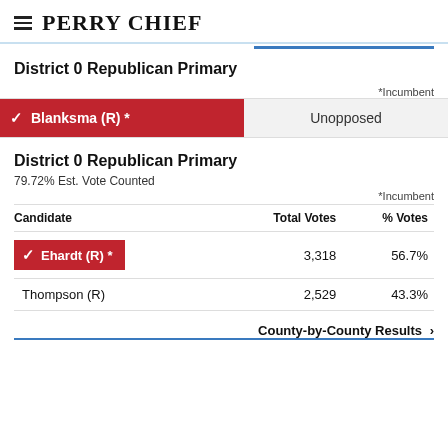PERRY CHIEF
District 0 Republican Primary
*Incumbent
|  |  |
| --- | --- |
| ✓ Blanksma (R) * | Unopposed |
District 0 Republican Primary
79.72% Est. Vote Counted
*Incumbent
| Candidate | Total Votes | % Votes |
| --- | --- | --- |
| ✓ Ehardt (R) * | 3,318 | 56.7% |
| Thompson (R) | 2,529 | 43.3% |
County-by-County Results ›